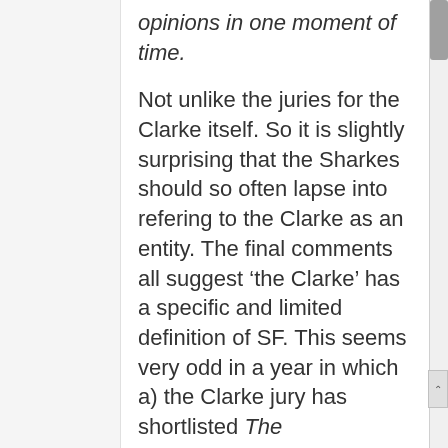opinions in one moment of time.
Not unlike the juries for the Clarke itself. So it is slightly surprising that the Sharkes should so often lapse into refering to the Clarke as an entity. The final comments all suggest ‘the Clarke’ has a specific and limited definition of SF. This seems very odd in a year in which a) the Clarke jury has shortlisted The Underground Railway and